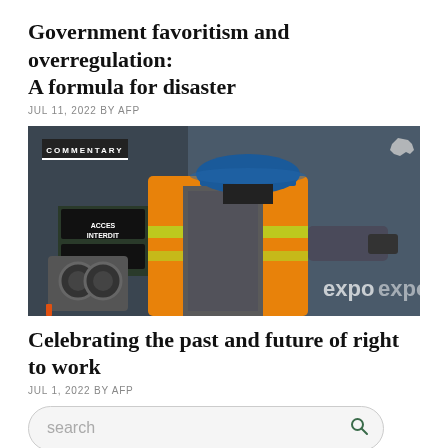Government favoritism and overregulation: A formula for disaster
JUL 11, 2022 BY AFP
[Figure (photo): Construction worker in orange safety vest and blue hard hat, viewed from behind, working at a site. A 'COMMENTARY' badge appears in the upper left and a USA logo in the upper right.]
Celebrating the past and future of right to work
JUL 1, 2022 BY AFP